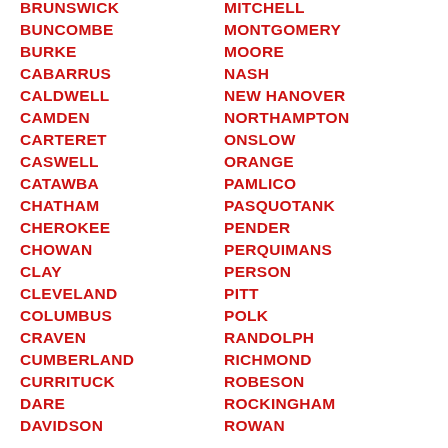BRUNSWICK
BUNCOMBE
BURKE
CABARRUS
CALDWELL
CAMDEN
CARTERET
CASWELL
CATAWBA
CHATHAM
CHEROKEE
CHOWAN
CLAY
CLEVELAND
COLUMBUS
CRAVEN
CUMBERLAND
CURRITUCK
DARE
DAVIDSON
MITCHELL
MONTGOMERY
MOORE
NASH
NEW HANOVER
NORTHAMPTON
ONSLOW
ORANGE
PAMLICO
PASQUOTANK
PENDER
PERQUIMANS
PERSON
PITT
POLK
RANDOLPH
RICHMOND
ROBESON
ROCKINGHAM
ROWAN